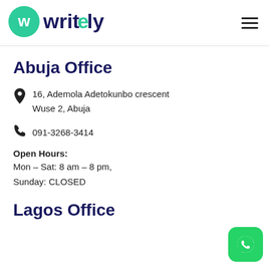[Figure (logo): Writely logo with green circular W icon and text 'writely' where 'l' is green]
Abuja Office
16, Ademola Adetokunbo crescent
Wuse 2, Abuja
091-3268-3414
Open Hours:
Mon – Sat: 8 am – 8 pm,
Sunday: CLOSED
Lagos Office